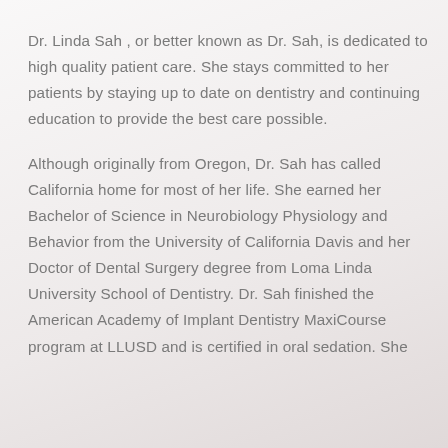Dr. Linda Sah , or better known as Dr. Sah, is dedicated to high quality patient care. She stays committed to her patients by staying up to date on dentistry and continuing education to provide the best care possible.
Although originally from Oregon, Dr. Sah has called California home for most of her life. She earned her Bachelor of Science in Neurobiology Physiology and Behavior from the University of California Davis and her Doctor of Dental Surgery degree from Loma Linda University School of Dentistry. Dr. Sah finished the American Academy of Implant Dentistry MaxiCourse program at LLUSD and is certified in oral sedation. She